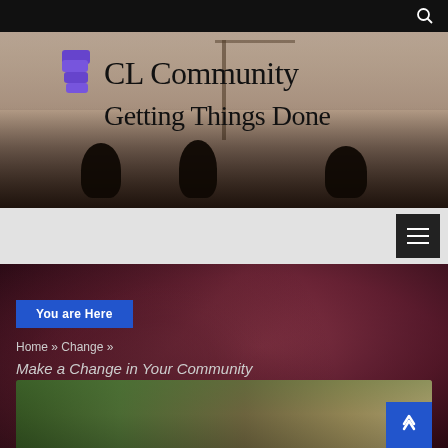[Figure (photo): Website hero banner showing people from behind looking at a scenic lake/mountain view with a cable car structure. CL Community logo overlaid with 'Getting Things Done' tagline.]
CL Community
Getting Things Done
[Figure (screenshot): Website navigation bar with dark hamburger menu button on right side]
[Figure (photo): Dark maroon/purple toned photo showing an open hand/palm, used as hero image for article section]
You are Here
Home » Change »
Make a Change in Your Community
[Figure (photo): Partial photo at bottom of page showing hands/grass in warm tones]